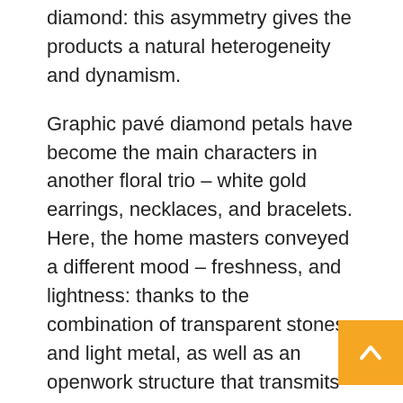diamond: this asymmetry gives the products a natural heterogeneity and dynamism.
Graphic pavé diamond petals have become the main characters in another floral trio – white gold earrings, necklaces, and bracelets. Here, the home masters conveyed a different mood – freshness, and lightness: thanks to the combination of transparent stones and light metal, as well as an openwork structure that transmits light through diamonds.
All 6 pieces of jewelry refer in one way or another to the archival samples of the jewelry house on a floral theme. Another historical reference is the polishing technique that the craftsmen of this house used in the 1920s to create exquisite pieces with jewelry bouquets sparkling in the sun.